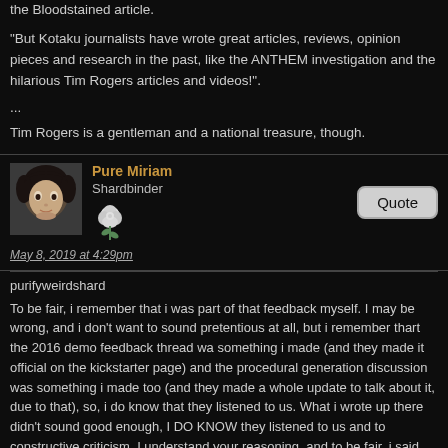the Bloodstained article.
"But Kotaku journalists have wrote great articles, reviews, opinion pieces and research in the past, like the ANTHEM investigation and the hilarious Tim Rogers articles and videos!".
...
Tim Rogers is a gentleman and a national treasure, though.
Pure Miriam
Shardbinder
May 8, 2019 at 4:29pm
purifyweirdshard
To be fair, i remember that i was part of that feedback myself. I may be wrong, and i don't want to sound pretentious at all, but i remember thart the 2016 demo feedback thread wa something i made (and they made it official on the kickstarter page) and the procedural generation discussion was something i made too (and they made a whole update to talk about it, due to that), so, i do know that they listened to us. What i wrote up there didn't sound good enough, I DO KNOW they listened to us and to constructive criticism, I understand your reasoning, and to be fair, i said "mostly", not "everyone". I think you are right and i refrain from what i said, BUT, that